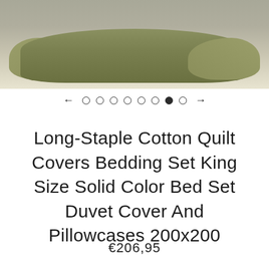[Figure (photo): Photo of olive/sage green pillows and bedding on a grey/purple surface, showing the top portion of a bed with plump pillows arranged neatly]
← ○ ○ ○ ○ ○ ○ ● ○ →
Long-Staple Cotton Quilt Covers Bedding Set King Size Solid Color Bed Set Duvet Cover And Pillowcases 200x200
€206,95